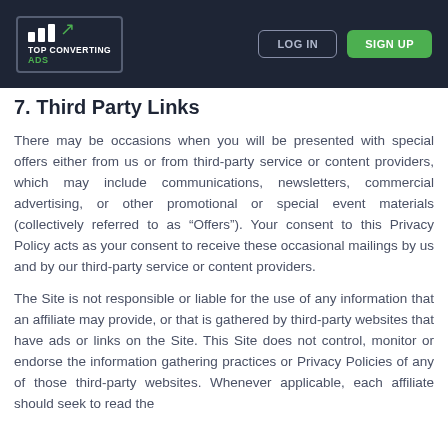TOP CONVERTING ADS | LOG IN | SIGN UP
7. Third Party Links
There may be occasions when you will be presented with special offers either from us or from third-party service or content providers, which may include communications, newsletters, commercial advertising, or other promotional or special event materials (collectively referred to as “Offers”). Your consent to this Privacy Policy acts as your consent to receive these occasional mailings by us and by our third-party service or content providers.
The Site is not responsible or liable for the use of any information that an affiliate may provide, or that is gathered by third-party websites that have ads or links on the Site. This Site does not control, monitor or endorse the information gathering practices or Privacy Policies of any of those third-party websites. Whenever applicable, each affiliate should seek to read the